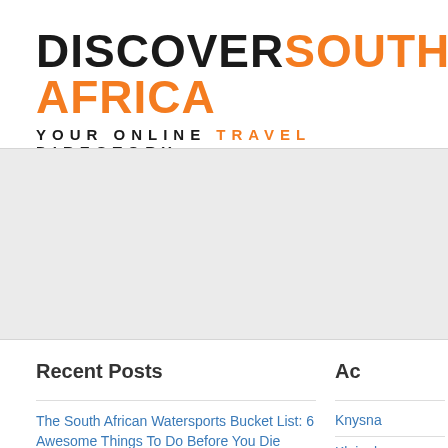DISCOVER SOUTH AFRICA — YOUR ONLINE TRAVEL DIRECTORY
[Figure (other): Gray banner/advertisement placeholder area]
Recent Posts
Ac
The South African Watersports Bucket List: 6 Awesome Things To Do Before You Die
11 Things to see and do in Knysna
Win a Weekend valued at R11 000 with Kagga Kamma Nature Reserve
Knysna
Kleinpla
Kannala
Tsitsikan